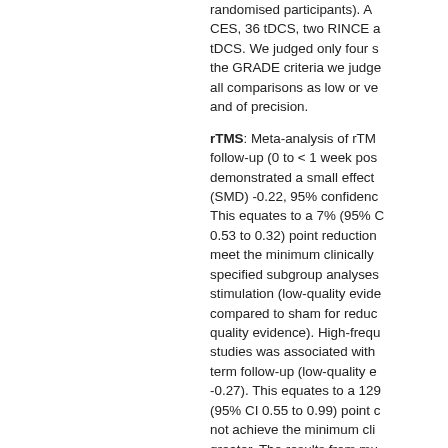randomised participants). ... CES, 36 tDCS, two RINCE a tDCS. We judged only four s the GRADE criteria we judge all comparisons as low or ve and of precision.
rTMS: Meta-analysis of rTM follow-up (0 to < 1 week pos demonstrated a small effect (SMD) -0.22, 95% confidenc This equates to a 7% (95% C 0.53 to 0.32) point reduction meet the minimum clinically specified subgroup analyses stimulation (low-quality evide compared to sham for reduc quality evidence). High-frequ studies was associated with term follow-up (low-quality e -0.27). This equates to a 129 (95% CI 0.55 to 0.99) point c not achieve the minimum cli greater. The results from mu was no evidence of an effec not find evidence that rTMS